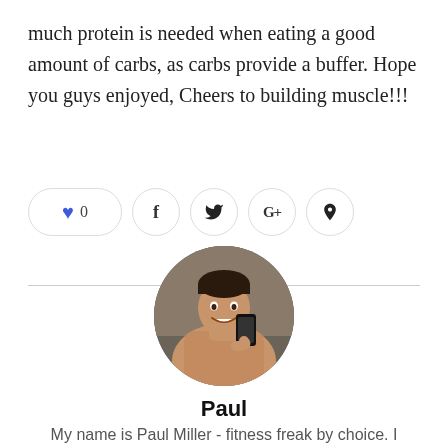much protein is needed when eating a good amount of carbs, as carbs provide a buffer. Hope you guys enjoyed, Cheers to building muscle!!!
[Figure (infographic): Social sharing buttons: heart/like button with count 0, Facebook, Twitter, Google+, Pinterest]
[Figure (photo): Circular profile photo of Paul Miller, a shirtless fit man taking a mirror selfie with a phone]
Paul
My name is Paul Miller - fitness freak by choice. I